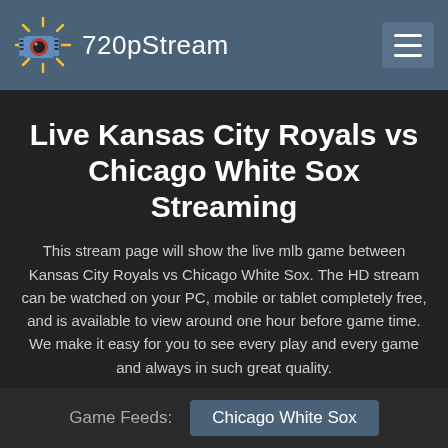720pStream
Live Kansas City Royals vs Chicago White Sox Streaming
This stream page will show the live mlb game between Kansas City Royals vs Chicago White Sox. The HD stream can be watched on your PC, mobile or tablet completely free, and is available to view around one hour before game time. We make it easy for you to see every play and every game and always in such great quality.
Game Feeds: Chicago White Sox